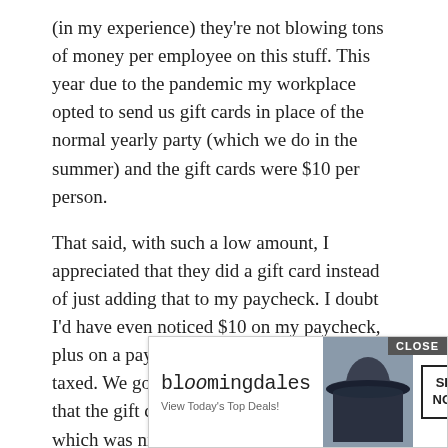(in my experience) they're not blowing tons of money per employee on this stuff. This year due to the pandemic my workplace opted to send us gift cards in place of the normal yearly party (which we do in the summer) and the gift cards were $10 per person.
That said, with such a low amount, I appreciated that they did a gift card instead of just adding that to my paycheck. I doubt I'd have even noticed $10 on my paycheck, plus on a paycheck it would have been taxed. We got a pretty long list of businesses that the gift cards could come from too, which was nice.
Orange You Glad
November 16, 2020 at 3:55 pm
Came here to say this. A few years ago some [covered] my comp[any doing] [something] spent [...]a
[Figure (other): Bloomingdale's advertisement banner with 'CLOSE' button, logo, 'View Today's Top Deals!' tagline, woman in wide-brim hat photo, and 'SHOP NOW >' button]